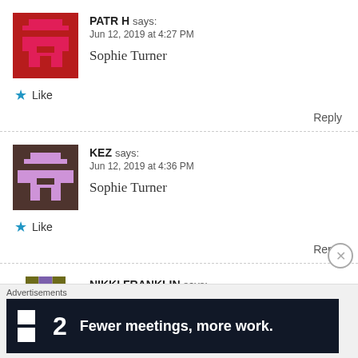[Figure (illustration): Pixel-art avatar for user PATR H — red background with pink pixel character]
PATR H says:
Jun 12, 2019 at 4:27 PM

Sophie Turner
★ Like
Reply
[Figure (illustration): Pixel-art avatar for user KEZ — brown background with pink pixel character]
KEZ says:
Jun 12, 2019 at 4:36 PM

Sophie Turner
★ Like
Reply
[Figure (illustration): Pixel-art avatar for user NIKKI FRANKLIN — olive/purple checkerboard pixel art]
NIKKI FRANKLIN says:
Jun 12, 2019 at 5:23 PM
Advertisements
[Figure (screenshot): Advertisement banner: dark background with '2' logo and text 'Fewer meetings, more work.']